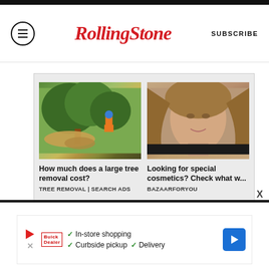RollingStone | SUBSCRIBE
[Figure (screenshot): Advertisement block with two sponsored content cards: 1) Tree removal worker with chainsaw cutting logs near a house, 2) Young woman with blonde wavy hair for cosmetics ad]
How much does a large tree removal cost?
TREE REMOVAL | SEARCH ADS
Looking for special cosmetics? Check what w...
BAZAARFORYOU
[Figure (infographic): Bottom advertisement banner with play button icon, hamburger/close icons, store logo, checkmarks listing: In-store shopping, Curbside pickup, Delivery, and a blue navigation arrow icon]